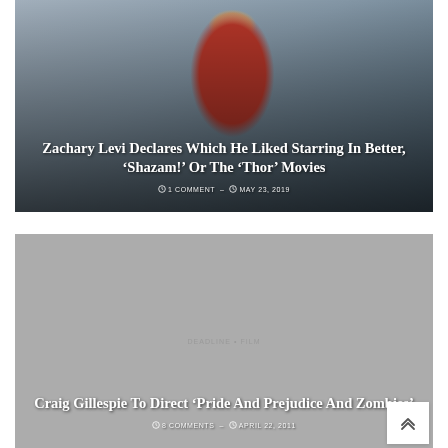[Figure (photo): Photo of Zachary Levi in red Shazam costume with arms raised, crowd in background, winter outdoor scene]
Zachary Levi Declares Which He Liked Starring In Better, ‘Shazam!’ Or The ‘Thor’ Movies
1 COMMENT – MAY 23, 2019
[Figure (photo): Gray/blank placeholder image for Craig Gillespie article with faint watermark text in center]
Craig Gillespie To Direct ‘Pride And Prejudice And Zombies’
8 COMMENTS – APRIL 22, 2011